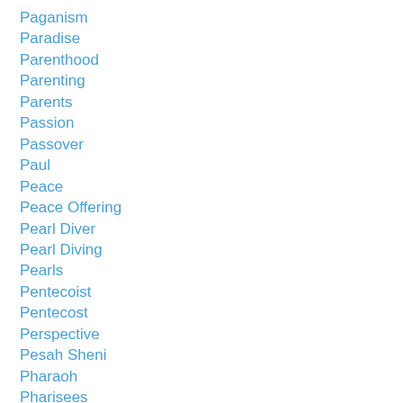Paganism
Paradise
Parenthood
Parenting
Parents
Passion
Passover
Paul
Peace
Peace Offering
Pearl Diver
Pearl Diving
Pearls
Pentecoist
Pentecost
Perspective
Pesah Sheni
Pharaoh
Pharisees
Philemon